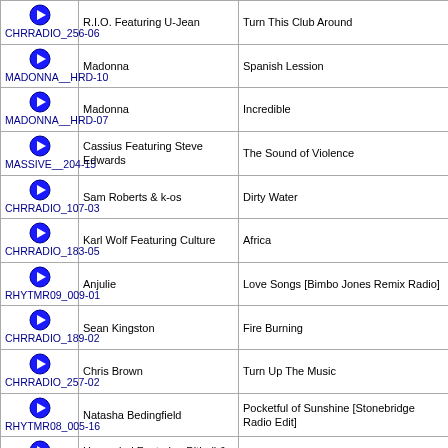|  | Track ID | Artist | Title |
| --- | --- | --- | --- |
| ▶ | CHRRADIO_256-06 | R.I.O. Featuring U-Jean | Turn This Club Around |
| ▶ | MADONNA__HRD-10 | Madonna | Spanish Lession |
| ▶ | MADONNA__HRD-07 | Madonna | Incredible |
| ▶ | MASSIVE__204-15 | Cassius Featuring Steve Edwards | The Sound of Violence |
| ▶ | CHRRADIO_107-03 | Sam Roberts & k-os | Dirty Water |
| ▶ | CHRRADIO_183-05 | Karl Wolf Featuring Culture | Africa |
| ▶ | RHYTMR09_009-01 | Anjulie | Love Songs [Bimbo Jones Remix Radio] |
| ▶ | CHRRADIO_189-02 | Sean Kingston | Fire Burning |
| ▶ | CHRRADIO_257-02 | Chris Brown | Turn Up The Music |
| ▶ | RHYTMR08_005-16 | Natasha Bedingfield | Pocketful of Sunshine [Stonebridge Radio Edit] |
| ▶ | RHYTMR09_010-07 | Honorebel Featuring Pitbull & Jump Smokers | Now You See It |
| ▶ | RHYTMR04_003-02 | Morjac Featuring Raz Conway | Stars [Radio Edit] |
| ▶ | RHYTMR10_010-17 | Akcent | Stay With Me |
| ▶ | CHRRADIO_169-04 | Madonna | Give It 2 Me |
| ▶ | RHYTMR04_003-16 | The Chemical Brothers | Get Yourself High [Extended Mix] |
| ▶ | MCLUB208_005-07 | Natasha Bedingfield | Pocketful of Sunshine [Soul Seekerz Club Mix] |
| ▶ | MUCHDNCE_201-13 | Dr. Dre Featuring Eminem | Forgot About Dre |
| ▶ | RADIO200_04A-14 | Dr. Dre Featuring Eminem | Forgot About Dre [Clean Mix] |